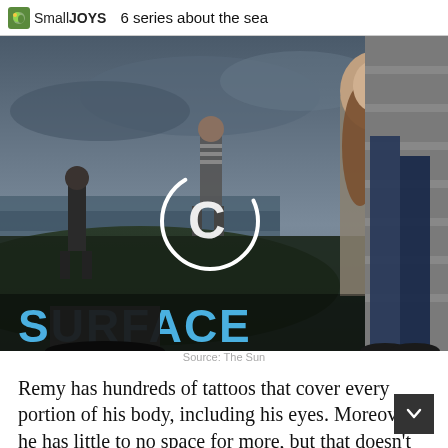SmallJOYS   6 series about the sea
[Figure (photo): TV show promo image for 'SURFACE' showing three figures on a coastal landscape with dramatic sky, overlaid on a photo of a person sitting on stone steps. A loading/circle icon is visible in the center.]
Source: The Sun
Remy has hundreds of tattoos that cover every portion of his body, including his eyes. Moreover, he has little to no space for more, but that doesn't stop him from thinking about what to add next to his fascinating body art collection.